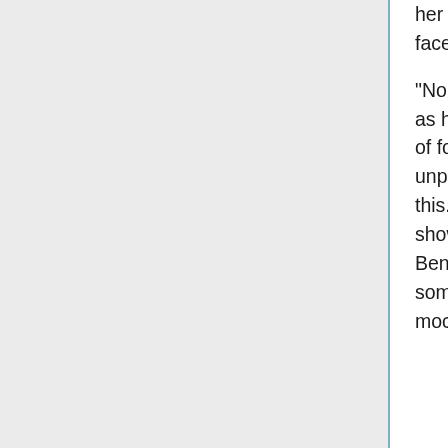her face melt away. Her eyes go wide, wider than they should. Her very face seems to contort backwards as she gazes downwards.

"No," Audiax Silver gasps. Her hands come upwards, framing her face as her mouth contorts again, lips quivering. Her hair goes out in a cloud of foul-smelling smoke, her meat-dress still shimmering and smoking unpleasantly. "No no no nononononoONONONONO! Sailor N/ - is this... Is this the true form, you've been hiding all along?!" Her voice shows something authentic now, neither calculated nor mocking. Beneath the distortion and the implication of autotuning there is something else. In the voice of Audiax Silver, for all her falsehoods and mockery, is now a single true, genuine emotion: